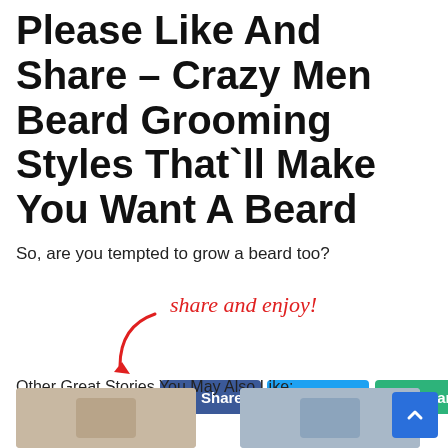Please Like And Share – Crazy Men Beard Grooming Styles That`ll Make You Want A Beard
So, are you tempted to grow a beard too?
[Figure (infographic): Red handwritten text 'share and enjoy!' with a curved arrow pointing down to social share buttons: Facebook Share (blue), Twitter Tweet (light blue), and a green Share button.]
Other Great Stories You May Also Like:
[Figure (photo): Thumbnail image placeholder on the left]
[Figure (photo): Thumbnail image placeholder on the right]